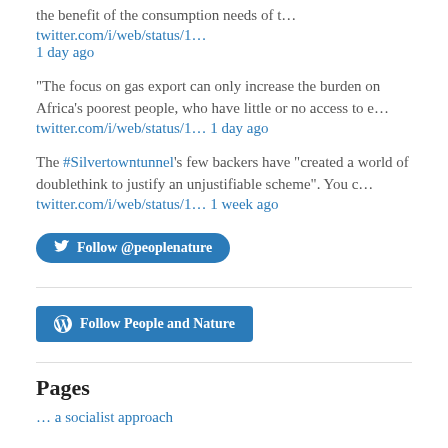the benefit of the consumption needs of t… twitter.com/i/web/status/1… 1 day ago
“The focus on gas export can only increase the burden on Africa’s poorest people, who have little or no access to e… twitter.com/i/web/status/1… 1 day ago
The #Silvertowntunnel’s few backers have "created a world of doublethink to justify an unjustifiable scheme". You c… twitter.com/i/web/status/1… 1 week ago
[Figure (other): Follow @peoplenature Twitter button]
[Figure (other): Follow People and Nature WordPress button]
Pages
… a socialist approach